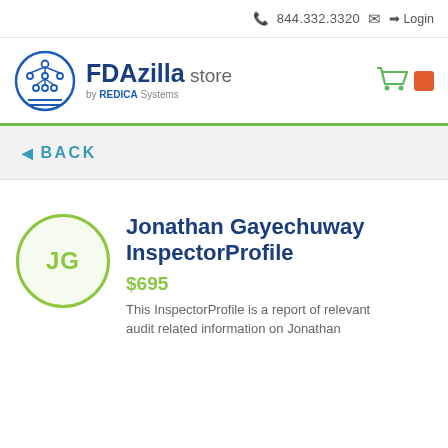📞 844.332.3320  ✉  ➔ Login
[Figure (logo): FDAzilla store by REDICA Systems logo with circular blue tree/network icon]
◄ BACK
Jonathan Gayechuway InspectorProfile
$695
This InspectorProfile is a report of relevant audit related information on Jonathan